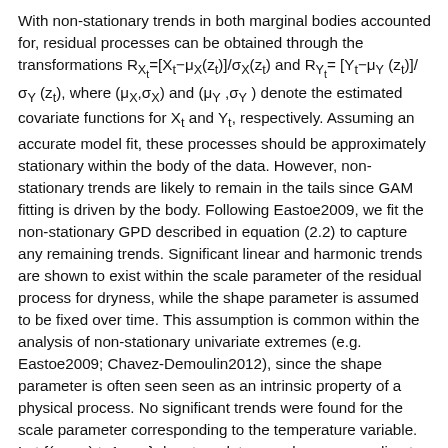With non-stationary trends in both marginal bodies accounted for, residual processes can be obtained through the transformations R_{X_t}=[X_t−μ_X(z_t)]/σ_X(z_t) and R_{Y_t}=[Y_t−μ_Y(z_t)]/σ_Y(z_t), where (μ_X,σ_X) and (μ_Y,σ_Y) denote the estimated covariate functions for X_t and Y_t, respectively. Assuming an accurate model fit, these processes should be approximately stationary within the body of the data. However, non-stationary trends are likely to remain in the tails since GAM fitting is driven by the body. Following Eastoe2009, we fit the non-stationary GPD described in equation (2.2) to capture any remaining trends. Significant linear and harmonic trends are shown to exist within the scale parameter of the residual process for dryness, while the shape parameter is assumed to be fixed over time. This assumption is common within the analysis of non-stationary univariate extremes (e.g. Eastoe2009; Chavez-Demoulin2012), since the shape parameter is often seen seen as an intrinsic property of a physical process. No significant trends were found for the scale parameter corresponding to the temperature variable. Let {(r_{x_t},r_{Y_t}):t=1,...,n} denote a data sample corresponding to the residuals vector (R_{X_t},R_{Y_t}). An estimate of the marginal distribution function F_{R_{Y_t}} is given by